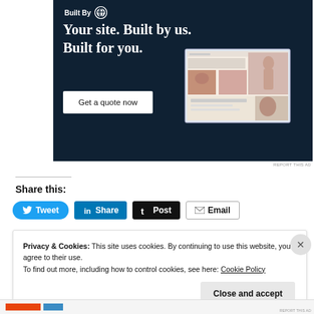[Figure (screenshot): WordPress 'Built By WordPress' advertisement banner with dark navy background. Shows 'Your site. Built by us. Built for you.' headline, a 'Get a quote now' button, and a mockup of a website with fashion/portrait photos.]
REPORT THIS AD
Share this:
[Figure (infographic): Social share buttons: Tweet (Twitter/blue), Share (LinkedIn/blue), Post (Tumblr/black), Email (outline)]
Privacy & Cookies: This site uses cookies. By continuing to use this website, you agree to their use.
To find out more, including how to control cookies, see here: Cookie Policy
Close and accept